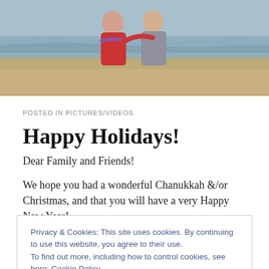[Figure (photo): Two people standing together on a beach, one wearing a red jacket and scarf, the other wearing a grey hoodie. Ocean waves and sandy shore visible in the background.]
POSTED IN PICTURES/VIDEOS
Happy Holidays!
Dear Family and Friends!
We hope you had a wonderful Chanukkah &/or Christmas, and that you will have a very Happy New Year!
Privacy & Cookies: This site uses cookies. By continuing to use this website, you agree to their use.
To find out more, including how to control cookies, see here: Cookie Policy
relaxing and getting odds/ends done for when little Evie